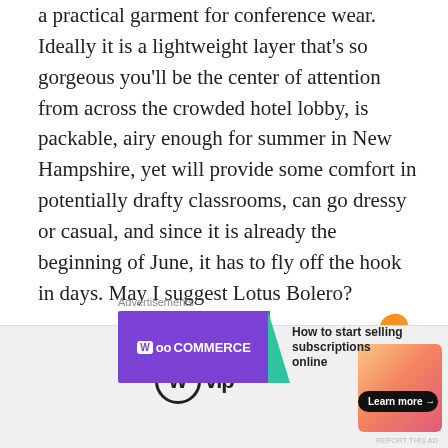a practical garment for conference wear. Ideally it is a lightweight layer that's so gorgeous you'll be the center of attention from across the crowded hotel lobby, is packable, airy enough for summer in New Hampshire, yet will provide some comfort in potentially drafty classrooms, can go dressy or casual, and since it is already the beginning of June, it has to fly off the hook in days. May I suggest Lotus Bolero?
[Figure (other): WooCommerce advertisement banner: purple left panel with WooCommerce logo and teal arrow, white right panel with text 'How to start selling subscriptions online', orange and teal accent shapes]
Lotus yarn and the downloadable pattern are available exclusively at DesigningVashti.com, ready now for your
[Figure (other): WordPress VIP advertisement: wp-vip logo on gray background with gradient orange-pink box and 'Learn more' button]